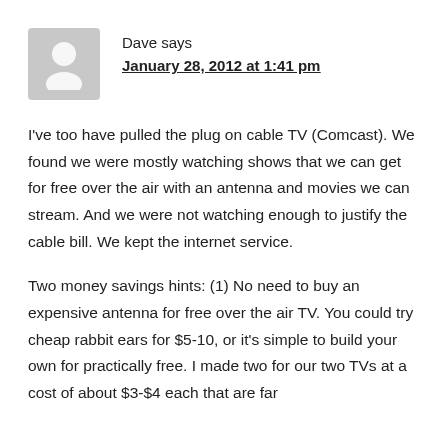[Figure (illustration): Grey placeholder avatar icon showing a generic person silhouette]
Dave says
January 28, 2012 at 1:41 pm
I've too have pulled the plug on cable TV (Comcast). We found we were mostly watching shows that we can get for free over the air with an antenna and movies we can stream. And we were not watching enough to justify the cable bill. We kept the internet service.
Two money savings hints: (1) No need to buy an expensive antenna for free over the air TV. You could try cheap rabbit ears for $5-10, or it's simple to build your own for practically free. I made two for our two TVs at a cost of about $3-$4 each that are far